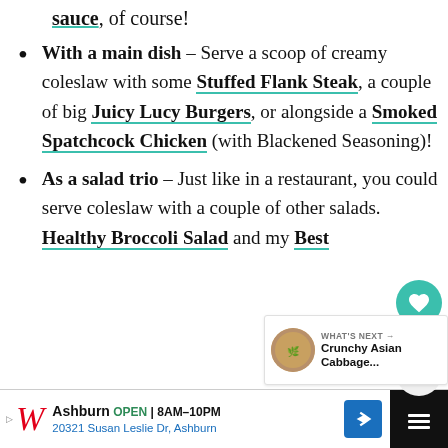sauce, of course!
With a main dish – Serve a scoop of creamy coleslaw with some Stuffed Flank Steak, a couple of big Juicy Lucy Burgers, or alongside a Smoked Spatchcock Chicken (with Blackened Seasoning)!
As a salad trio – Just like in a restaurant, you could serve coleslaw with a couple of other salads. Healthy Broccoli Salad and my Best
[Figure (screenshot): What's Next promo box: Crunchy Asian Cabbage...]
[Figure (screenshot): Social bar with heart button (58 likes) and share button]
[Figure (screenshot): Advertisement bar: Walgreens Ashburn OPEN 8AM-10PM, 20321 Susan Leslie Dr, Ashburn]